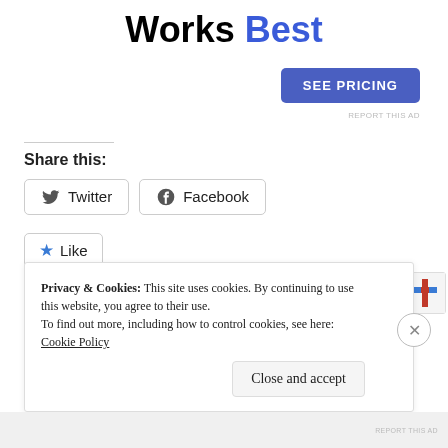Works Best
[Figure (other): SEE PRICING button (blue rounded rectangle)]
REPORT THIS AD
Share this:
[Figure (other): Twitter and Facebook share buttons]
[Figure (other): Like button with star icon and blogger avatar thumbnails]
18 bloggers like this.
Privacy & Cookies: This site uses cookies. By continuing to use this website, you agree to their use. To find out more, including how to control cookies, see here: Cookie Policy
Close and accept